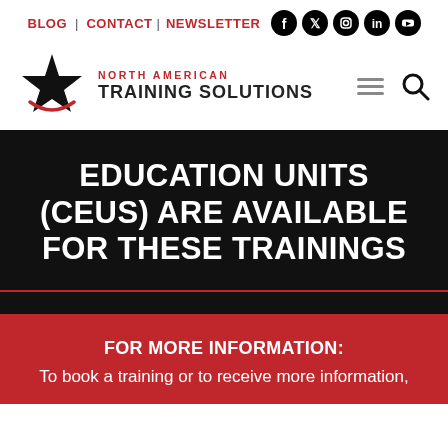BLOG | CONTACT | NEWSLETTER
[Figure (logo): North American Training Solutions logo with star graphic]
EDUCATION UNITS (CEUS) ARE AVAILABLE FOR THESE TRAININGS
FOR MORE INFORMATION: To book a training or to receive more information,